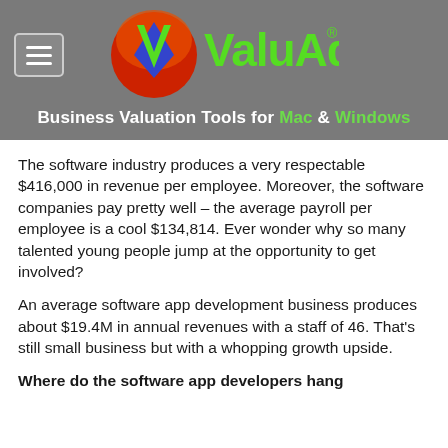[Figure (logo): ValuAdder logo - circular red/orange background with blue diamond and green V shape, with 'ValuAdder' text in green and registered trademark symbol]
Business Valuation Tools for Mac & Windows
The software industry produces a very respectable $416,000 in revenue per employee. Moreover, the software companies pay pretty well – the average payroll per employee is a cool $134,814. Ever wonder why so many talented young people jump at the opportunity to get involved?
An average software app development business produces about $19.4M in annual revenues with a staff of 46. That's still small business but with a whopping growth upside.
Where do the software app developers hang